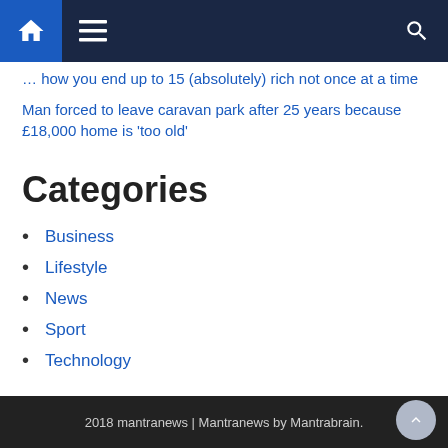Navigation bar with home, menu, and search icons
… how you end up to 15 (absolutely) rich not once at a time
Man forced to leave caravan park after 25 years because £18,000 home is 'too old'
Categories
Business
Lifestyle
News
Sport
Technology
2018 mantranews | Mantranews by Mantrabrain.